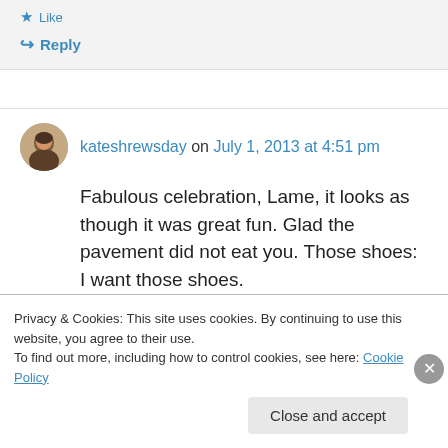★ Like
↪ Reply
kateshrewsday on July 1, 2013 at 4:51 pm
Fabulous celebration, Lame, it looks as though it was great fun. Glad the pavement did not eat you. Those shoes: I want those shoes.
Privacy & Cookies: This site uses cookies. By continuing to use this website, you agree to their use.
To find out more, including how to control cookies, see here: Cookie Policy